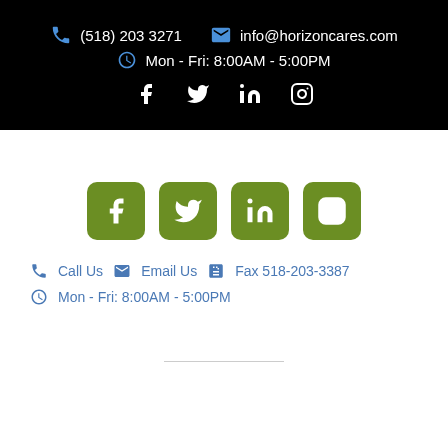(518) 203 3271   info@horizoncares.com
Mon - Fri: 8:00AM - 5:00PM
[Figure (other): Social media icons (Facebook, Twitter, LinkedIn, Instagram) in white outline on black background]
[Figure (other): Social media icons (Facebook, Twitter, LinkedIn, Instagram) as green rounded square buttons]
Call Us   Email Us   Fax 518-203-3387
Mon - Fri: 8:00AM - 5:00PM